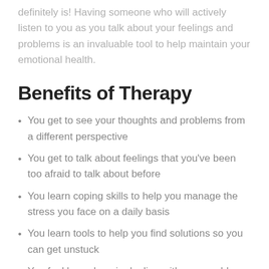definitely is! Having someone who will actively listen to you as you talk about your feelings and problems is an invaluable tool to help maintain your emotional health.
Benefits of Therapy
You get to see your thoughts and problems from a different perspective
You get to talk about feelings that you've been too afraid to talk about before
You learn coping skills to help you manage the stress you face on a daily basis
You learn tools to help you find solutions so you can get unstuck
You feel less alone in dealing with your problems